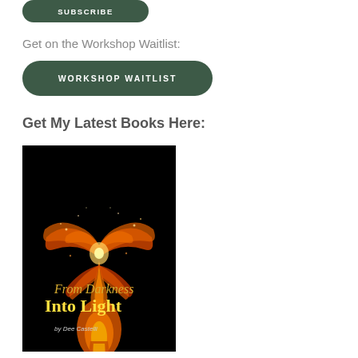[Figure (other): Green rounded rectangle SUBSCRIBE button]
Get on the Workshop Waitlist:
[Figure (other): Green rounded rectangle WORKSHOP WAITLIST button]
Get My Latest Books Here:
[Figure (illustration): Book cover: 'From Darkness Into Light by Dee Castelli' — black background with a fiery butterfly/phoenix made of orange flames, text in yellow/gold at the bottom]